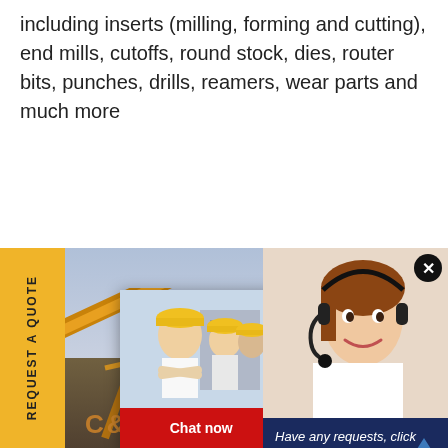including inserts (milling, forming and cutting), end mills, cutoffs, round stock, dies, router bits, punches, drills, reamers, wear parts and much more
[Figure (screenshot): Yellow sidebar with rotated text 'REQUEST A QUOTE', industrial photo of mining/construction equipment with crane/conveyor, overlaid with a live chat popup showing workers in hard hats, LIVE CHAT title, Chat now / Chat later buttons, and a right panel with a customer service agent, 'Have any requests, click here.' text, and a gold Quotation button.]